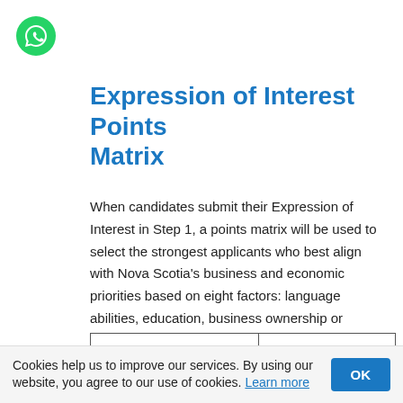[Figure (logo): Green circular WhatsApp button with phone/chat icon in top left corner]
Expression of Interest Points Matrix
When candidates submit their Expression of Interest in Step 1, a points matrix will be used to select the strongest applicants who best align with Nova Scotia's business and economic priorities based on eight factors: language abilities, education, business ownership or management experience, level of investment in the business, net worth, age, adaptability, and Nova Scotia priorities.
| Selection factor | Points |
| --- | --- |
|  | Maximum 35 |
Cookies help us to improve our services. By using our website, you agree to our use of cookies. Learn more